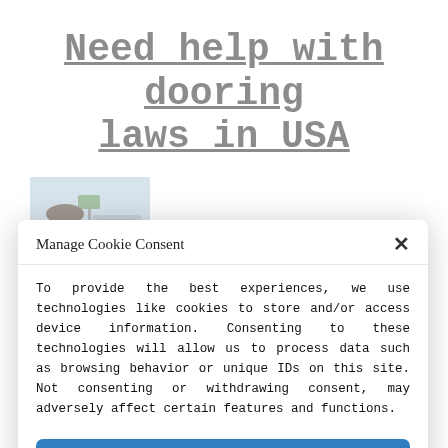Need help with dooring laws in USA
[Figure (photo): A man wearing sunglasses smiling, photographed outdoors near a road/highway, wearing a blue shirt]
Manage Cookie Consent
To provide the best experiences, we use technologies like cookies to store and/or access device information. Consenting to these technologies will allow us to process data such as browsing behavior or unique IDs on this site. Not consenting or withdrawing consent, may adversely affect certain features and functions.
Accept